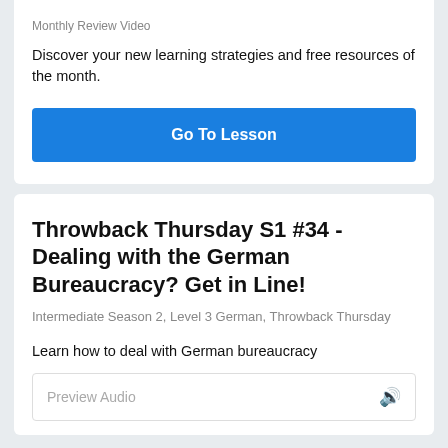Monthly Review Video
Discover your new learning strategies and free resources of the month.
[Figure (other): Blue 'Go To Lesson' button]
Throwback Thursday S1 #34 - Dealing with the German Bureaucracy? Get in Line!
Intermediate Season 2, Level 3 German, Throwback Thursday
Learn how to deal with German bureaucracy
[Figure (other): Preview Audio bar with speaker icon]